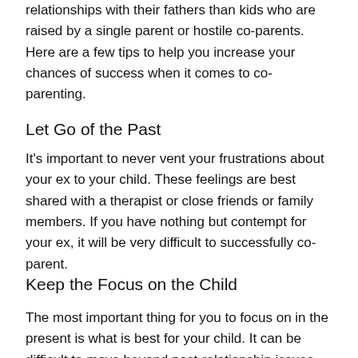relationships with their fathers than kids who are raised by a single parent or hostile co-parents. Here are a few tips to help you increase your chances of success when it comes to co-parenting.
Let Go of the Past
It's important to never vent your frustrations about your ex to your child. These feelings are best shared with a therapist or close friends or family members. If you have nothing but contempt for your ex, it will be very difficult to successfully co-parent.
Keep the Focus on the Child
The most important thing for you to focus on in the present is what is best for your child. It can be difficult to move beyond post-relationship issues but being unable